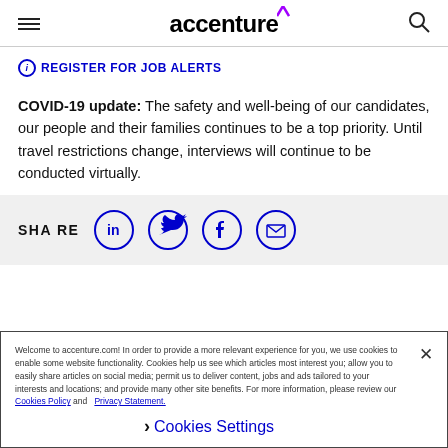accenture (logo with hamburger menu and search icon)
REGISTER FOR JOB ALERTS
COVID-19 update: The safety and well-being of our candidates, our people and their families continues to be a top priority. Until travel restrictions change, interviews will continue to be conducted virtually.
[Figure (infographic): SHARE bar with LinkedIn, Twitter, Facebook, and Email social share buttons as blue circle icons]
Welcome to accenture.com! In order to provide a more relevant experience for you, we use cookies to enable some website functionality. Cookies help us see which articles most interest you; allow you to easily share articles on social media; permit us to deliver content, jobs and ads tailored to your interests and locations; and provide many other site benefits. For more information, please review our Cookies Policy and Privacy Statement.
Cookies Settings